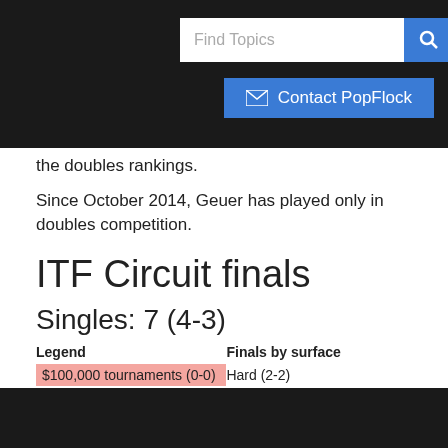Find Topics | Contact PopFlock
the doubles rankings.
Since October 2014, Geuer has played only in doubles competition.
ITF Circuit finals
Singles: 7 (4-3)
| Legend | Finals by surface |
| --- | --- |
| $100,000 tournaments (0-0) | Hard (2-2) |
| $75,000 tournaments (0-0) | Clay (2-1) |
| $50,000 tournaments (0-0) | Grass (0-0) |
| $25,000 tournaments (1-0) | Carpet (0-0) |
| $10,000 tournaments (3-3) |  |